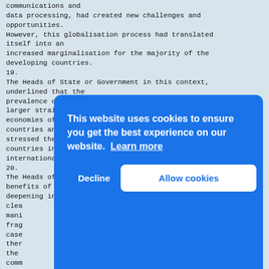communications and
data processing, had created new challenges and
opportunities.
However, this globalisation process had translated
itself into an
increased marginalisation for the majority of the
developing countries.
19.
The Heads of State or Government in this context,
underlined that the
prevalence of neo-liberal policies placed an even
larger strain on the
economies of Non-Aligned and other developing
countries and
stressed the need to enhance the role of developing
countries in the
international economy.
20.
The Heads of State or Government noted that while the
benefits of the
deepening interdependence amongst economies were
clea
mani
frag
case
ther
the
comm
crea
inte
econ
would benefit all
nations.
[Figure (screenshot): Cookie consent banner overlay with blue background. Text reads: 'This website uses cookies to ensure you get the best experience on our website. Learn more'. Two buttons: 'Decline' (white text) and 'Allow cookies' (blue text on white background).]